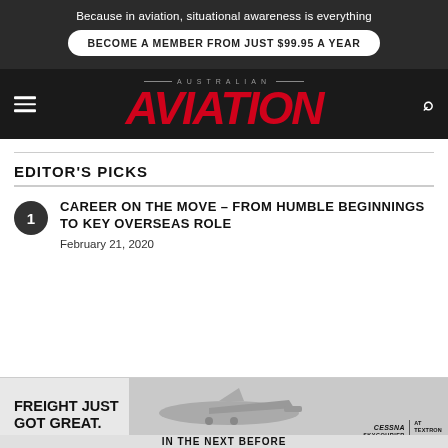Because in aviation, situational awareness is everything
BECOME A MEMBER FROM JUST $99.95 A YEAR
[Figure (logo): Australian AVIATION magazine logo in red italic bold text on dark background with hamburger menu and search icon]
EDITOR'S PICKS
CAREER ON THE MOVE – FROM HUMBLE BEGINNINGS TO KEY OVERSEAS ROLE
February 21, 2020
[Figure (infographic): Cessna Skycourier advertisement banner: FREIGHT JUST GOT GREAT. with aircraft image and Cessna Skycourier logo]
IN THE NEXT BEFORE